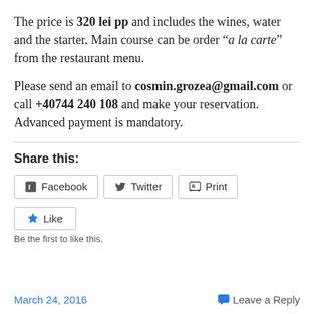The price is 320 lei pp and includes the wines, water and the starter. Main course can be order "a la carte" from the restaurant menu.

Please send an email to cosmin.grozea@gmail.com or call +40744 240 108 and make your reservation. Advanced payment is mandatory.
Share this:
Facebook  Twitter  Print
Like
Be the first to like this.
March 24, 2016    Leave a Reply